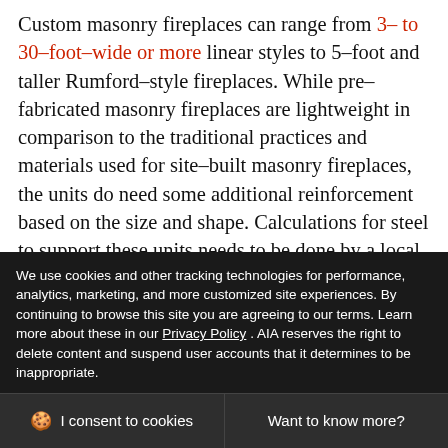Custom masonry fireplaces can range from 3- to 30-foot-wide or more linear styles to 5-foot and taller Rumford-style fireplaces. While pre-fabricated masonry fireplaces are lightweight in comparison to the traditional practices and materials used for site-built masonry fireplaces, the units do need some additional reinforcement based on the size and shape. Calculations for steel to support these units needs to be done by a local structural engineer; estimations of the weight of these fireplaces can be
We use cookies and other tracking technologies for performance, analytics, marketing, and more customized site experiences. By continuing to browse this site you are agreeing to our terms. Learn more about these in our Privacy Policy . AIA reserves the right to delete content and suspend user accounts that it determines to be inappropriate.
I consent to cookies
Want to know more?